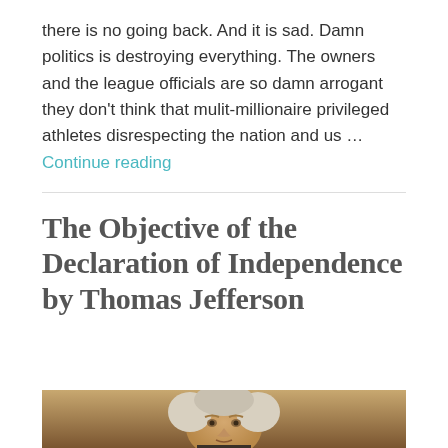there is no going back. And it is sad. Damn politics is destroying everything. The owners and the league officials are so damn arrogant they don't think that mulit-millionaire privileged athletes disrespecting the nation and us … Continue reading
The Objective of the Declaration of Independence by Thomas Jefferson
[Figure (photo): Close-up portrait photo of Thomas Jefferson (historical painting), showing his face and white hair against a brown background.]